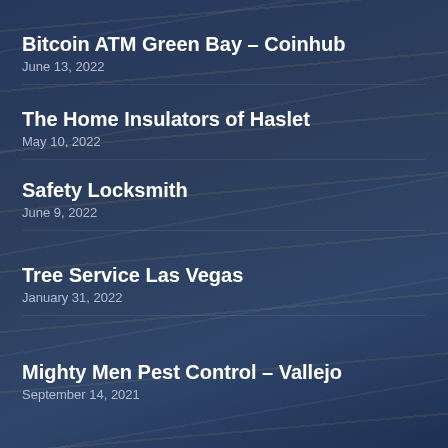Bitcoin ATM Green Bay – Coinhub
June 13, 2022
The Home Insulators of Haslet
May 10, 2022
Safety Locksmith
June 9, 2022
Tree Service Las Vegas
January 31, 2022
Mighty Men Pest Control – Vallejo
September 14, 2021